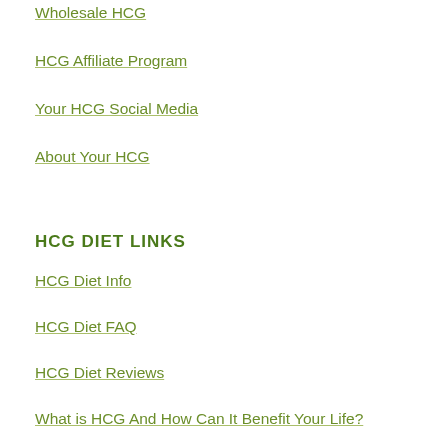Wholesale HCG
HCG Affiliate Program
Your HCG Social Media
About Your HCG
HCG DIET LINKS
HCG Diet Info
HCG Diet FAQ
HCG Diet Reviews
What is HCG And How Can It Benefit Your Life?
Dr. Simeons Pounds and Inches Protocol
HCG Diet Plan